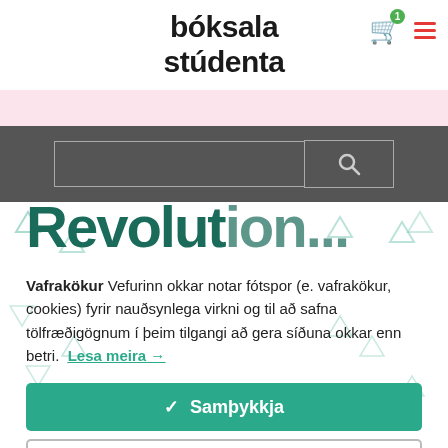[Figure (logo): Bóksala stúdenta logo in bold black text]
[Figure (screenshot): Shopping cart icon with green badge showing number 1, and hamburger menu icon in red]
[Figure (screenshot): Pink notification bar across the top]
[Figure (screenshot): Dark grey search bar with input field and search button]
[Figure (screenshot): Partially visible large dark teal text 'Revolutioner...' with decorative triangle pattern]
Vafrakökur Vefurinn okkar notar fótspor (e. vafrakökur, cookies) fyrir nauðsynlega virkni og til að safna tölfræðigögnum í þeim tilgangi að gera síðuna okkar enn betri. Lesa meira →
✓  Samþykkja
Change Settings  ⚙